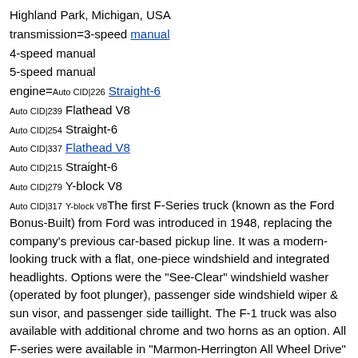Highland Park, Michigan, USA
transmission=3-speed manual
4-speed manual
5-speed manual
engine=Auto CID|226 Straight-6
Auto CID|239 Flathead V8
Auto CID|254 Straight-6
Auto CID|337 Flathead V8
Auto CID|215 Straight-6
Auto CID|279 Y-block V8
Auto CID|317 Y-block V8The first F-Series truck (known as the Ford Bonus-Built) from Ford was introduced in 1948, replacing the company's previous car-based pickup line. It was a modern-looking truck with a flat, one-piece windshield and integrated headlights. Options were the "See-Clear" windshield washer (operated by foot plunger), passenger side windshield wiper & sun visor, and passenger side taillight. The F-1 truck was also available with additional chrome and two horns as an option. All F-series were available in "Marmon-Herrington All Wheel Drive" until 1959. Design of the F-Series truck changed little from 1948 to 1952. From 1948-1950, the grill was a series of horizontal bars and the